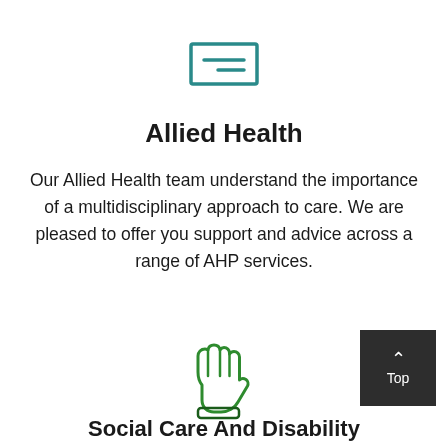[Figure (logo): Teal/green rectangular icon resembling a card or badge with two horizontal lines inside]
Allied Health
Our Allied Health team understand the importance of a multidisciplinary approach to care. We are pleased to offer you support and advice across a range of AHP services.
[Figure (illustration): Green outline hand icon with three fingers raised, resembling a greeting or stop gesture]
[Figure (other): Dark grey square button with an upward caret and the word Top in white text]
Social Care And Disability